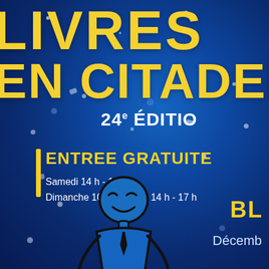LIVRES EN CITADELLE
24e ÉDITION
ENTREE GRATUITE
Samedi 14 h - 18 h
Dimanche 10 h - 12 h et 14 h - 17 h
BL
Décemb
[Figure (illustration): Blue stick figure character with a smiling face, wearing a tie, drawn in dark lines on blue background]